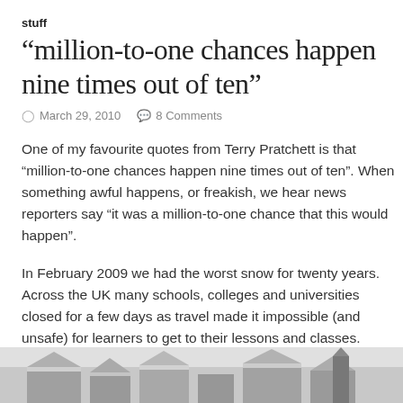stuff
“million-to-one chances happen nine times out of ten”
○ March 29, 2010   💬 8 Comments
One of my favourite quotes from Terry Pratchett is that “million-to-one chances happen nine times out of ten”. When something awful happens, or freakish, we hear news reporters say “it was a million-to-one chance that this would happen”.
In February 2009 we had the worst snow for twenty years. Across the UK many schools, colleges and universities closed for a few days as travel made it impossible (and unsafe) for learners to get to their lessons and classes.
[Figure (photo): Grayscale photograph visible at the bottom of the page, showing rooftops or building structures in snowy or wintry conditions.]